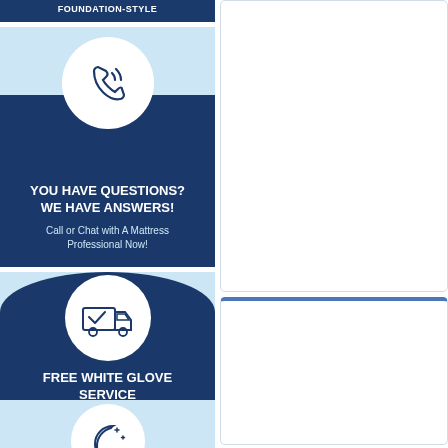[Figure (infographic): Partial top of a card with dark navy blue background and white text partially cut off at top]
[Figure (infographic): Card with light blue background, white circle containing phone/call icon, dark navy arch, YOU HAVE QUESTIONS? WE HAVE ANSWERS! title and Call or Chat with A Mattress Professional Now! subtitle]
YOU HAVE QUESTIONS? WE HAVE ANSWERS!
Call or Chat with A Mattress Professional Now!
[Figure (infographic): Card with light blue background, white circle containing delivery truck with checkmark icon, dark navy arch, FREE WHITE GLOVE SERVICE title and Delivery-Setup-Removal subtitle]
FREE WHITE GLOVE SERVICE
Delivery-Setup-Removal
[Figure (infographic): Partial bottom card showing light blue background with partial moon/crescent icon visible at bottom edge]